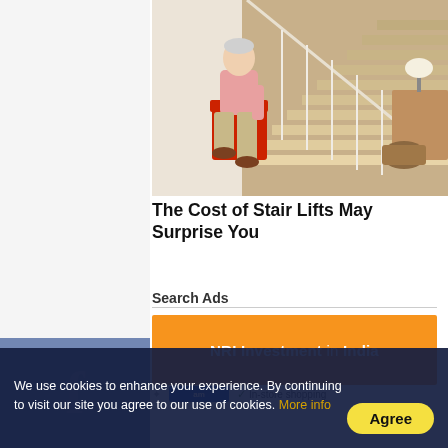[Figure (photo): Elderly man sitting on a stairlift chair at the bottom of a residential staircase, wearing a pink shirt and khaki pants, with a basket and shoes visible in the background.]
The Cost of Stair Lifts May Surprise You
Search Ads
[Figure (infographic): Orange banner advertisement for NRI Investment in India]
We use cookies to enhance your experience. By continuing to visit our site you agree to our use of cookies. More info
Agree